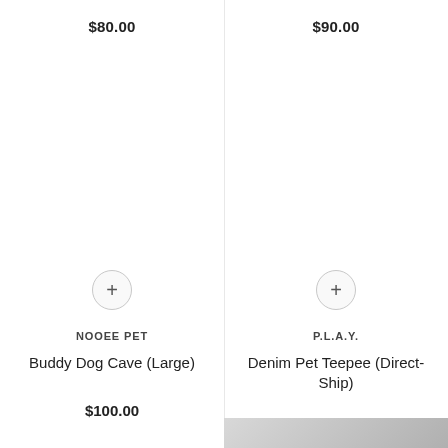$80.00
$90.00
[Figure (other): Add to cart plus button circle for left product]
[Figure (other): Add to cart plus button circle for right product]
NOOEE PET
Buddy Dog Cave (Large)
$100.00
P.L.A.Y.
Denim Pet Teepee (Direct-Ship)
$90.00
[Figure (photo): Grey gradient image at bottom right corner]